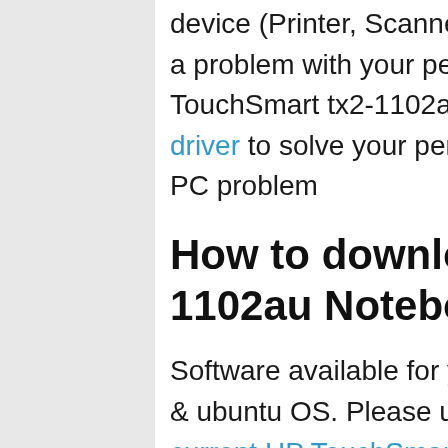device (Printer, Scanner, Audio etc.) then people could possibly have a problem with your personal HP Driver for this device. Get HP TouchSmart tx2-1102au Notebook PC driver and setup the latest driver to solve your personal HP TouchSmart tx2-1102au Notebook PC problem
How to download HP TouchSmart tx2-1102au Notebook PC software and driver
Software available for your company's os: Microsoft Windows, Linux & ubuntu OS. Please underneath instruction to download your current HP TouchSmart tx2-1102au Notebook PC audio, lan, wifi, network, graphic driver…
Select the driver that compatible with your company os: HP TouchSmart tx2-1102au Notebook PC driver for windows XP, HP TouchSmart tx2-1102au Notebook PC driver for